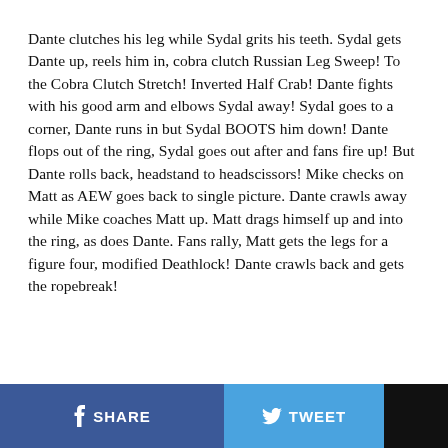Dante clutches his leg while Sydal grits his teeth. Sydal gets Dante up, reels him in, cobra clutch Russian Leg Sweep! To the Cobra Clutch Stretch! Inverted Half Crab! Dante fights with his good arm and elbows Sydal away! Sydal goes to a corner, Dante runs in but Sydal BOOTS him down! Dante flops out of the ring, Sydal goes out after and fans fire up! But Dante rolls back, headstand to headscissors! Mike checks on Matt as AEW goes back to single picture. Dante crawls away while Mike coaches Matt up. Matt drags himself up and into the ring, as does Dante. Fans rally, Matt gets the legs for a figure four, modified Deathlock! Dante crawls back and gets the ropebreak!
SHARE   TWEET